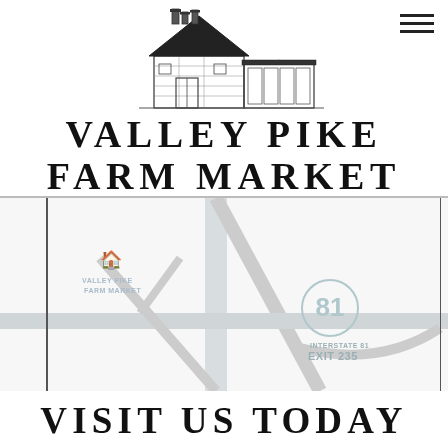[Figure (illustration): Illustration of a stone barn building with multiple chimneys and windows, rendered in black and white pencil/line art style.]
VALLEY PIKE FARM MARKET
[Figure (map): A light gray road map showing the location of Valley Pike Farm Market near Interstate 81 Exit 235. Roads are shown as light gray lines on a white background. The farm market location is marked with small building icons and labeled 'VALLEY PIKE FARM MARKET'. The interstate shield for I-81 is visible along with text 'INTERSTATE 81 EXIT 235'.]
VISIT US TODAY